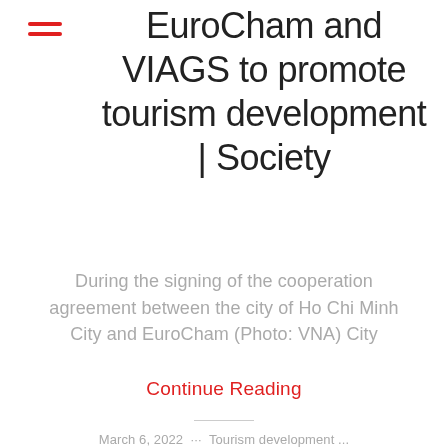≡ (menu icon)
EuroCham and VIAGS to promote tourism development | Society
During the signing of the cooperation agreement between the city of Ho Chi Minh City and EuroCham (Photo: VNA) City
Continue Reading
March 6, 2022 ... Tourism development ...